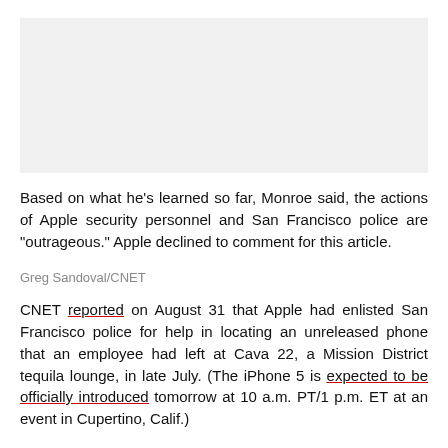[Figure (photo): A rectangular image placeholder at the top of the page, light gray background.]
Based on what he's learned so far, Monroe said, the actions of Apple security personnel and San Francisco police are "outrageous." Apple declined to comment for this article.
Greg Sandoval/CNET
CNET reported on August 31 that Apple had enlisted San Francisco police for help in locating an unreleased phone that an employee had left at Cava 22, a Mission District tequila lounge, in late July. (The iPhone 5 is expected to be officially introduced tomorrow at 10 a.m. PT/1 p.m. ET at an event in Cupertino, Calif.)
Apple internal security told police that the device was